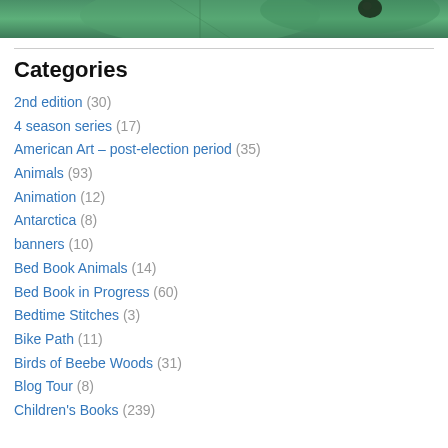[Figure (photo): Close-up photograph of green leaves with a dark insect or berry visible]
Categories
2nd edition (30)
4 season series (17)
American Art – post-election period (35)
Animals (93)
Animation (12)
Antarctica (8)
banners (10)
Bed Book Animals (14)
Bed Book in Progress (60)
Bedtime Stitches (3)
Bike Path (11)
Birds of Beebe Woods (31)
Blog Tour (8)
Children's Books (239)